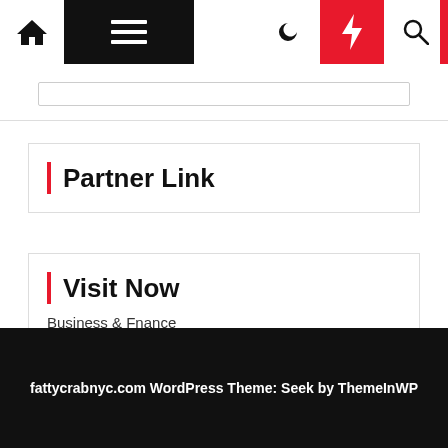[Figure (screenshot): Website navigation bar with home icon, hamburger menu on black background, moon icon, red lightning bolt icon, and search icon]
[Figure (screenshot): Search input text field]
Partner Link
Visit Now
Business & Fnance
fattycrabnyc.com WordPress Theme: Seek by ThemeInWP